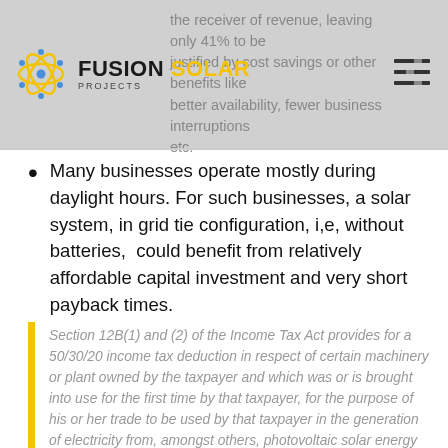FUSION SOLAR PROJECTS — the receiver of revenue, leaving only 41% to be justified by cost savings or other benefits like better availability, fewer business interruptions etc.
Many businesses operate mostly during daylight hours. For such businesses, a solar system, in grid tie configuration, i,e, without batteries, could benefit from relatively affordable capital investment and very short payback times.
Section 12B(1) and (2) of the Income Tax Act provides for a 50/30/20 income tax deduction in respect of certain machinery or plant owned by the taxpayer and which was or is brought into use for the first time by that taxpayer, for the purpose of his or her trade to be used by that taxpayer in the generation of electricity from, amongst others, photovoltaic solar energy (both for energy of more than 1 megawatt and energy not exceeding 1 megawatt) or concentrated solar energy,